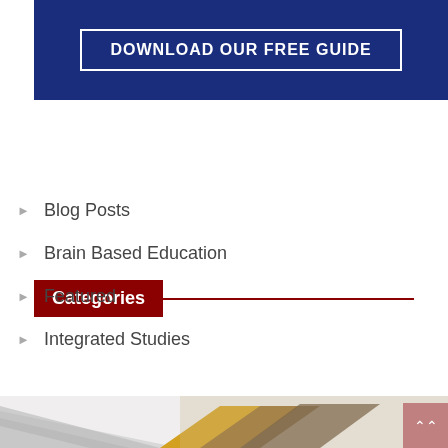[Figure (other): Dark blue banner with 'DOWNLOAD OUR FREE GUIDE' button text in white with a white border]
Categories
Blog Posts
Brain Based Education
Featured
Integrated Studies
[Figure (photo): Bottom decorative strip with layered diagonal shapes in grey, yellow/gold tones, and a reddish scroll-to-top button on the right]